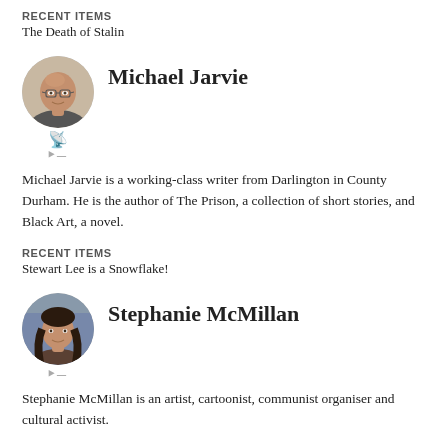RECENT ITEMS
The Death of Stalin
Michael Jarvie
[Figure (photo): Circular avatar photo of Michael Jarvie, a middle-aged bald man with glasses]
Michael Jarvie is a working-class writer from Darlington in County Durham. He is the author of The Prison, a collection of short stories, and Black Art, a novel.
RECENT ITEMS
Stewart Lee is a Snowflake!
Stephanie McMillan
[Figure (photo): Circular avatar photo of Stephanie McMillan, a woman with long dark hair]
Stephanie McMillan is an artist, cartoonist, communist organiser and cultural activist.